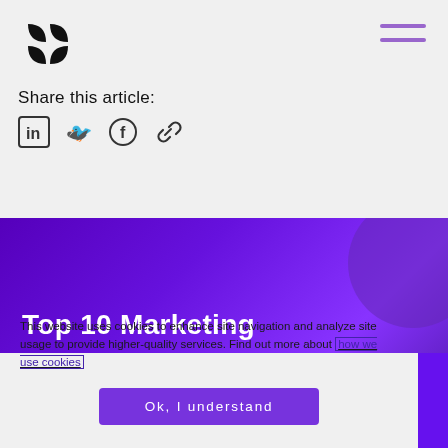[Figure (logo): Abstract black logo with four leaf/petal shapes arranged in a 2x2 grid]
[Figure (other): Hamburger menu icon with two purple horizontal lines]
Share this article:
[Figure (other): Social share icons: LinkedIn, Twitter, Facebook, and link/copy icon]
[Figure (other): Purple banner with title 'Top 10 Marketing' and decorative circle shape on right]
This website uses cookies to enhance site navigation and analyze site usage to provide higher-quality services. Find out more about how we use cookies
Ok, I understand